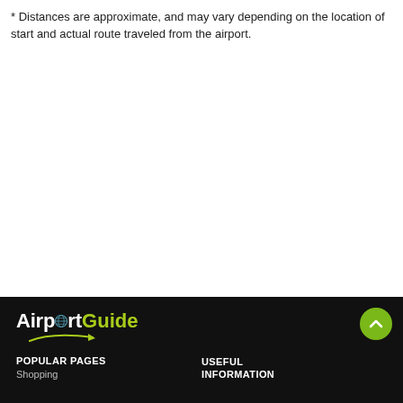* Distances are approximate, and may vary depending on the location of start and actual route traveled from the airport.
[Figure (logo): AirportGuide logo in white and yellow-green on dark background, with swoosh graphic beneath]
POPULAR PAGES
USEFUL INFORMATION
Shopping